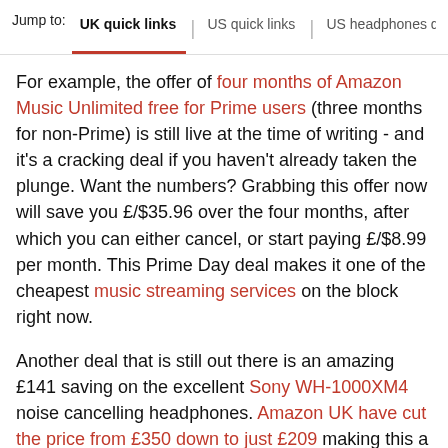Jump to: UK quick links | US quick links | US headphones dea
For example, the offer of four months of Amazon Music Unlimited free for Prime users (three months for non-Prime) is still live at the time of writing - and it's a cracking deal if you haven't already taken the plunge. Want the numbers? Grabbing this offer now will save you £/$35.96 over the four months, after which you can either cancel, or start paying £/$8.99 per month. This Prime Day deal makes it one of the cheapest music streaming services on the block right now.
Another deal that is still out there is an amazing £141 saving on the excellent Sony WH-1000XM4 noise cancelling headphones. Amazon UK have cut the price from £350 down to just £209 making this a belter of a bargain.